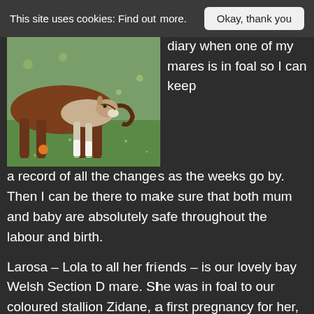This site uses cookies: Find out more.  Okay, thank you
[Figure (photo): A brown mare and a young foal with white markings standing on green grass in a field.]
diary when one of my mares is in foal so I can keep a record of all the changes as the weeks go by. Then I can be there to make sure that both mum and baby are absolutely safe throughout the labour and birth.
Larosa – Lola to all her friends – is our lovely bay Welsh Section D mare. She was in foal to our coloured stallion Zidane, a first pregnancy for her, and the baby was due on May 20th.
She was scanned in foal in July 2014 and continued to work up to December when she started her maternity